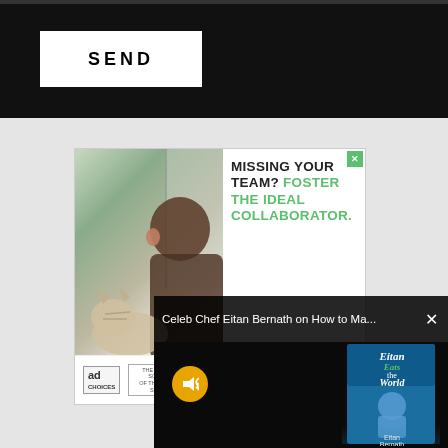[Figure (screenshot): Black top bar with a white 'SEND' button on the left side]
SEND
[Figure (infographic): Foster pet advertisement: 'MISSING YOUR TEAM? FOSTER THE IDEAL COLLABORATOR.' with a photo of a person looking at a cat through a window, logos at bottom for ad, Humane Society, and Maddie's Fund]
[Figure (screenshot): Video player overlay showing 'Celeb Chef Eitan Bernath on How to Ma...' with a book cover for 'Eitan Eats the World' and a muted speaker button]